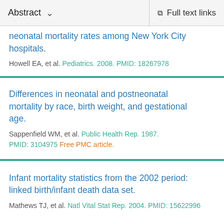Abstract  ∨    Full text links
neonatal mortality rates among New York City hospitals.
Howell EA, et al. Pediatrics. 2008. PMID: 18267978
Differences in neonatal and postneonatal mortality by race, birth weight, and gestational age.
Sappenfield WM, et al. Public Health Rep. 1987. PMID: 3104975 Free PMC article.
Infant mortality statistics from the 2002 period: linked birth/infant death data set.
Mathews TJ, et al. Natl Vital Stat Rep. 2004. PMID: 15622996